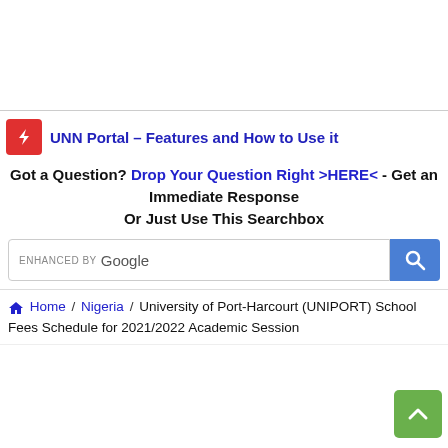[Figure (other): Advertisement/banner area at top of page (white space)]
UNN Portal – Features and How to Use it
Got a Question? Drop Your Question Right >HERE< - Get an Immediate Response Or Just Use This Searchbox
[Figure (other): Google enhanced search box with search button]
Home / Nigeria / University of Port-Harcourt (UNIPORT) School Fees Schedule for 2021/2022 Academic Session
[Figure (other): Green back-to-top button at bottom right]